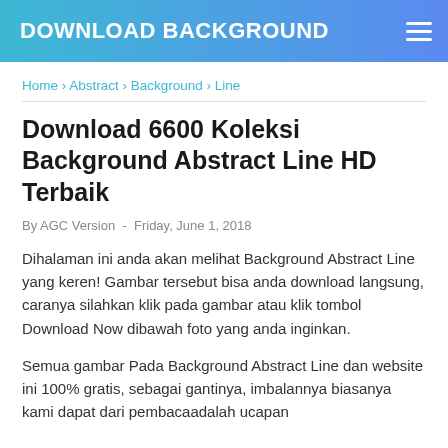DOWNLOAD BACKGROUND
Home › Abstract › Background › Line
Download 6600 Koleksi Background Abstract Line HD Terbaik
By AGC Version  -  Friday, June 1, 2018
Dihalaman ini anda akan melihat Background Abstract Line yang keren! Gambar tersebut bisa anda download langsung, caranya silahkan klik pada gambar atau klik tombol Download Now dibawah foto yang anda inginkan.
Semua gambar Pada Background Abstract Line dan website ini 100% gratis, sebagai gantinya, imbalannya biasanya kami dapat dari pembacaadalah ucapan